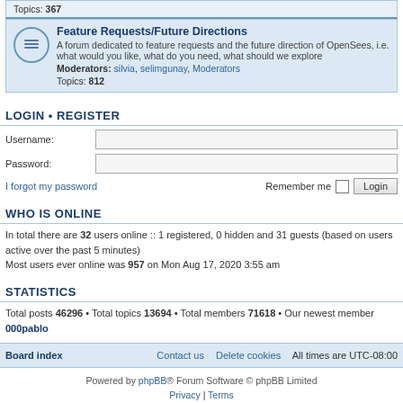Topics: 367
Feature Requests/Future Directions — A forum dedicated to feature requests and the future direction of OpenSees, i.e. what would you like, what do you need, what should we explore. Moderators: silvia, selimgunay, Moderators. Topics: 812
LOGIN • REGISTER
Username:
Password:
I forgot my password — Remember me — Login
WHO IS ONLINE
In total there are 32 users online :: 1 registered, 0 hidden and 31 guests (based on users active over the past 5 minutes)
Most users ever online was 957 on Mon Aug 17, 2020 3:55 am
STATISTICS
Total posts 46296 • Total topics 13694 • Total members 71618 • Our newest member 000pablo
Board index   Contact us   Delete cookies   All times are UTC-08:00
Powered by phpBB® Forum Software © phpBB Limited
Privacy | Terms